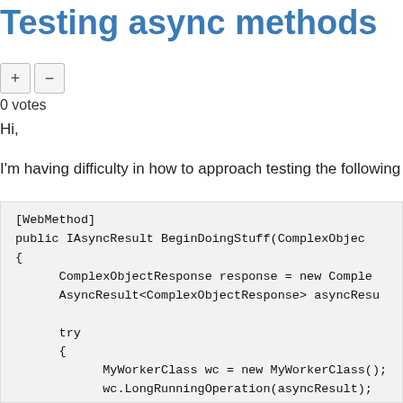Testing async methods
0 votes
Hi,
I'm having difficulty in how to approach testing the following code:
[WebMethod]
public IAsyncResult BeginDoingStuff(ComplexObjec
{
    ComplexObjectResponse response = new Comple
    AsyncResult<ComplexObjectResponse> asyncResu

    try
    {
        MyWorkerClass wc = new MyWorkerClass();
        wc.LongRunningOperation(asyncResult);

        return asyncResult;
    }